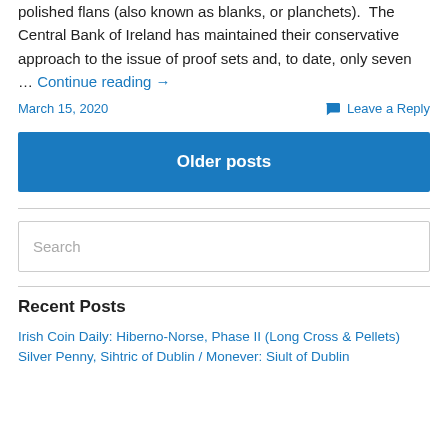polished flans (also known as blanks, or planchets). The Central Bank of Ireland has maintained their conservative approach to the issue of proof sets and, to date, only seven … Continue reading →
March 15, 2020
Leave a Reply
Older posts
Search
Recent Posts
Irish Coin Daily: Hiberno-Norse, Phase II (Long Cross & Pellets) Silver Penny, Sihtric of Dublin / Monever: Siult of Dublin